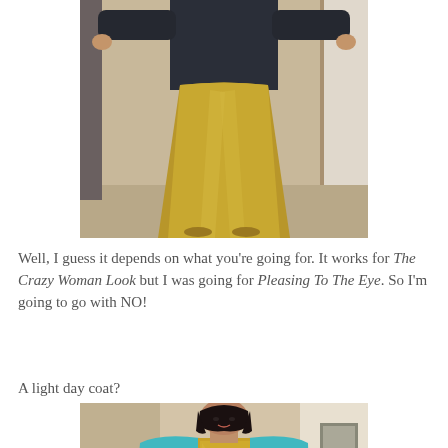[Figure (photo): A person wearing a long gold/mustard satin skirt and a dark navy bomber jacket, arms spread wide, standing indoors. Only the body from neck down is visible.]
Well, I guess it depends on what you’re going for. It works for The Crazy Woman Look but I was going for Pleasing To The Eye. So I’m going to go with NO!
A light day coat?
[Figure (photo): A woman with short dark hair wearing a gold sequined dress and a light turquoise/teal open cardigan or wrap, standing indoors.]